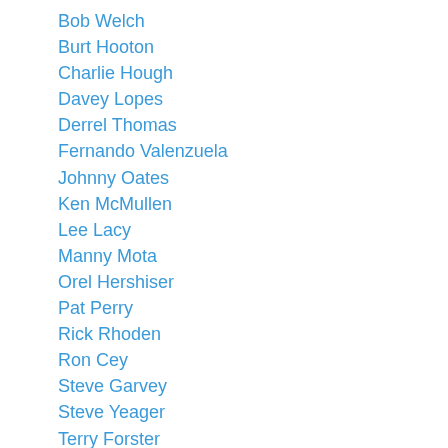Bob Welch
Burt Hooton
Charlie Hough
Davey Lopes
Derrel Thomas
Fernando Valenzuela
Johnny Oates
Ken McMullen
Lee Lacy
Manny Mota
Orel Hershiser
Pat Perry
Rick Rhoden
Ron Cey
Steve Garvey
Steve Yeager
Terry Forster
Tim Crews
Tom Lasorda
Tommy John (L.A.)